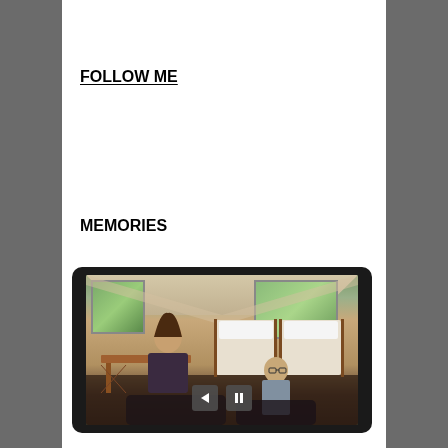FOLLOW ME
MEMORIES
[Figure (photo): A photo/slideshow widget with a dark rounded tablet-like frame showing two women sitting inside a glamping tent with beds and wooden furniture. Navigation controls (back arrow and pause button) visible at the bottom of the image.]